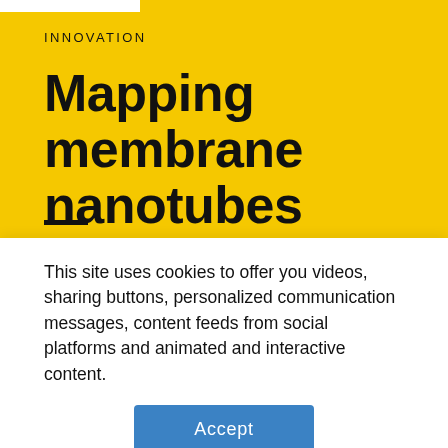INNOVATION
Mapping membrane nanotubes
A team from the Canopole-accredited Laboratory
This site uses cookies to offer you videos, sharing buttons, personalized communication messages, content feeds from social platforms and animated and interactive content.
Accept
Configure cookies